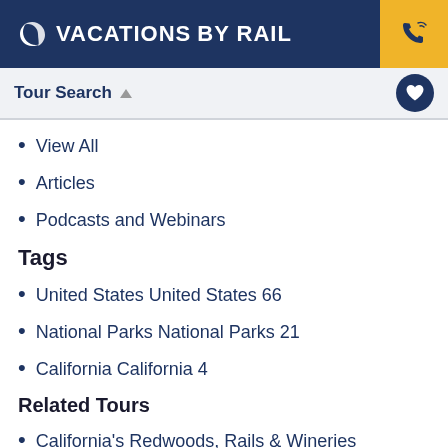VACATIONS BY RAIL
Tour Search
View All
Articles
Podcasts and Webinars
Tags
United States United States 66
National Parks National Parks 21
California California 4
Related Tours
California's Redwoods, Rails & Wineries